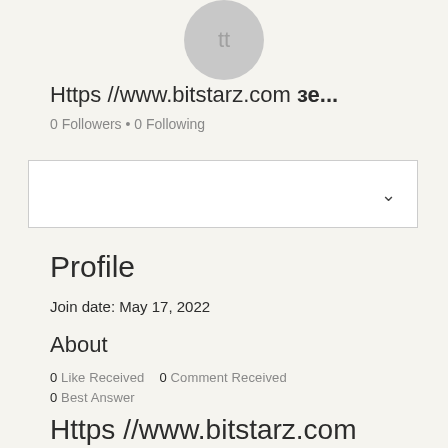[Figure (illustration): Circular gray avatar/profile picture placeholder at top center]
Https //www.bitstarz.com зе...
0 Followers • 0 Following
[Figure (other): Empty dropdown box with chevron/caret icon on right side]
Profile
Join date: May 17, 2022
About
0 Like Received   0 Comment Received
0 Best Answer
Https //www.bitstarz.com зеркало, bitstarz support